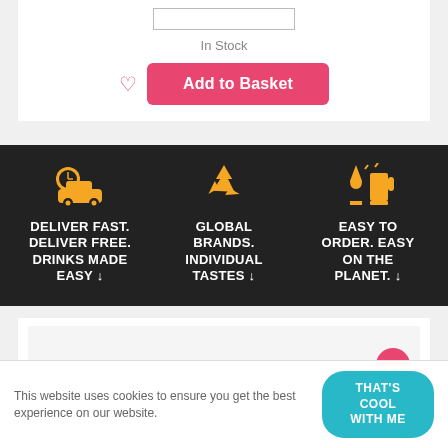In Stock
Add to Basket
[Figure (infographic): Three-column dark banner with yellow icons and white bold text. Column 1: delivery truck with clock icon, text 'DELIVER FAST. DELIVER FREE. DRINKS MADE EASY ↓'. Column 2: recycling symbol icon, text 'GLOBAL BRANDS. INDIVIDUAL TASTES ↓'. Column 3: drinks glasses clinking icon, text 'EASY TO ORDER. EASY ON THE PLANET. ↓']
This website uses cookies to ensure you get the best experience on our website.
THAT'S COOL WITH ME